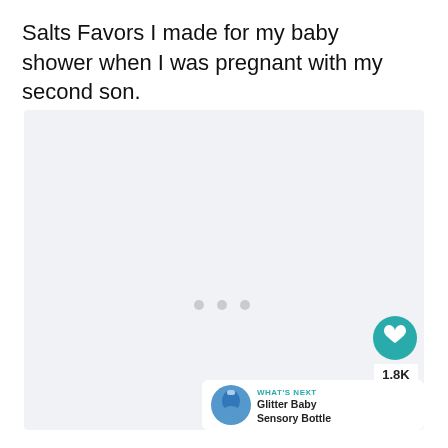Salts Favors I made for my baby shower when I was pregnant with my second son.
[Figure (photo): Light gray placeholder image area with three small dots indicating loading content, with a like button (heart icon, teal), count of 1.8K, and share button overlaid on the right side. A 'What's Next' bar at the bottom right shows 'Glitter Baby Sensory Bottle' with a blue bottle icon.]